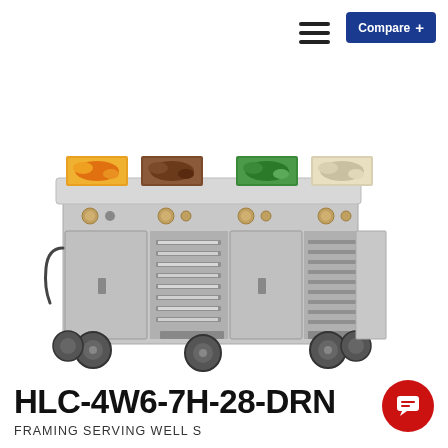[Figure (screenshot): Compare button with blue background in top right corner]
[Figure (screenshot): Hamburger menu icon (three horizontal lines) in top right area]
[Figure (screenshot): Search magnifying glass icon]
[Figure (photo): Large commercial food serving cart HLC-4W6-7H-28-DRN with four hot food wells on top containing colorful foods (carrots, meat, greens, white items), stainless steel body, multiple cabinet doors open showing tray slides, mounted on heavy-duty caster wheels]
HLC-4W6-7H-28-DRN
FRAMING SERVING WELL S